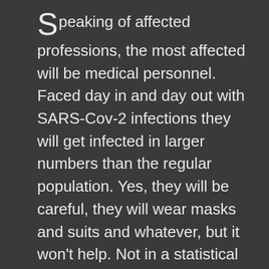Speaking of affected professions, the most affected will be medical personnel. Faced day in and day out with SARS-Cov-2 infections they will get infected in larger numbers than the regular population. Yes, they will be careful, they will wear masks and suits and whatever, but it won't help. Not in a statistical way, the only way we must think right now. It's a numbers game. It's no longer about tragedies, it's about statistics, as Stalin used to say. And these people are not regular people. They've been in school for at least a decade before they can properly work in a